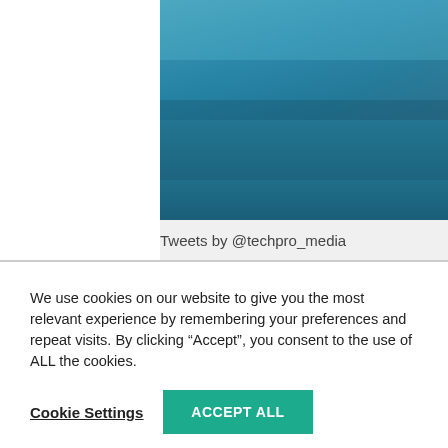[Figure (illustration): Blue gradient background image (teal to dark blue), partially visible, cropped at right edge. White area on left side.]
Tweets by @techpro_media
We use cookies on our website to give you the most relevant experience by remembering your preferences and repeat visits. By clicking “Accept”, you consent to the use of ALL the cookies.
Cookie Settings
ACCEPT ALL